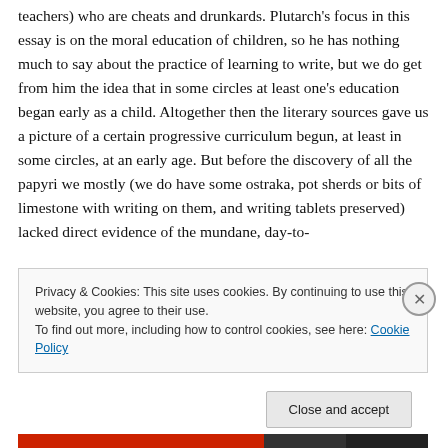teachers) who are cheats and drunkards. Plutarch's focus in this essay is on the moral education of children, so he has nothing much to say about the practice of learning to write, but we do get from him the idea that in some circles at least one's education began early as a child. Altogether then the literary sources gave us a picture of a certain progressive curriculum begun, at least in some circles, at an early age. But before the discovery of all the papyri we mostly (we do have some ostraka, pot sherds or bits of limestone with writing on them, and writing tablets preserved) lacked direct evidence of the mundane, day-to-
Privacy & Cookies: This site uses cookies. By continuing to use this website, you agree to their use.
To find out more, including how to control cookies, see here: Cookie Policy
Close and accept